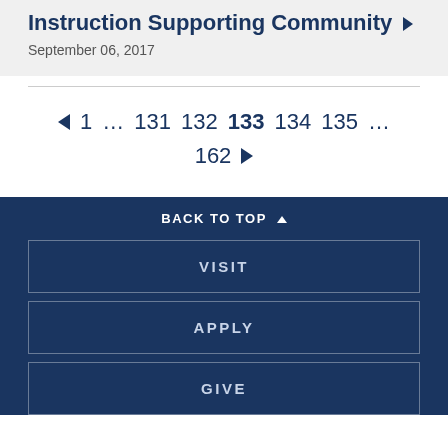Instruction Supporting Community ▶
September 06, 2017
◄ 1 … 131 132 133 134 135 … 162 ►
BACK TO TOP ▲
VISIT
APPLY
GIVE